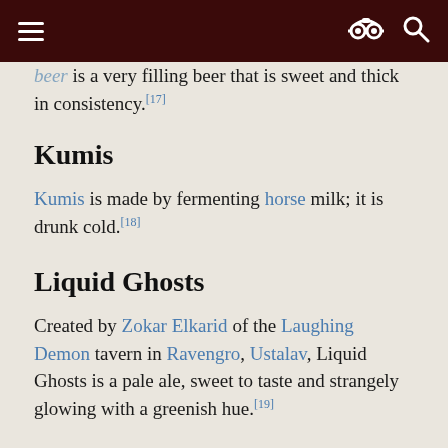[navigation bar with hamburger menu, spy icon, and search icon]
beer is a very filling beer that is sweet and thick in consistency.[17]
Kumis
Kumis is made by fermenting horse milk; it is drunk cold.[18]
Liquid Ghosts
Created by Zokar Elkarid of the Laughing Demon tavern in Ravengro, Ustalav, Liquid Ghosts is a pale ale, sweet to taste and strangely glowing with a greenish hue.[19]